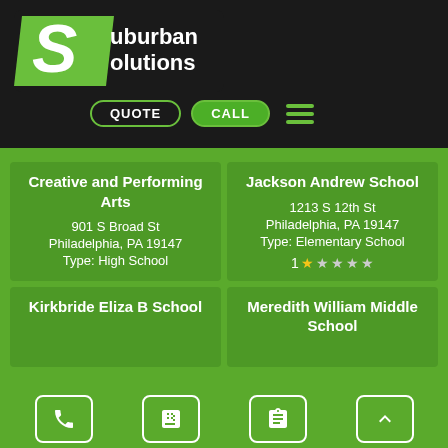[Figure (logo): Suburban Solutions logo with green S and white text on black background]
QUOTE   CALL
Creative and Performing Arts
901 S Broad St
Philadelphia, PA 19147
Type: High School
Jackson Andrew School
1213 S 12th St
Philadelphia, PA 19147
Type: Elementary School
1 star rating
Kirkbride Eliza B School
Meredith William Middle School